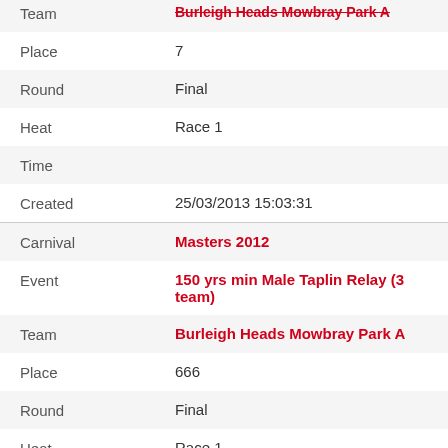| Field | Value |
| --- | --- |
| Team | Burleigh Heads Mowbray Park A |
| Place | 7 |
| Round | Final |
| Heat | Race 1 |
| Time |  |
| Created | 25/03/2013 15:03:31 |
| Carnival | Masters 2012 |
| Event | 150 yrs min Male Taplin Relay (3 team) |
| Team | Burleigh Heads Mowbray Park A |
| Place | 666 |
| Round | Final |
| Heat | Race 1 |
| Time |  |
| Created | 25/03/2013 15:04:20 |